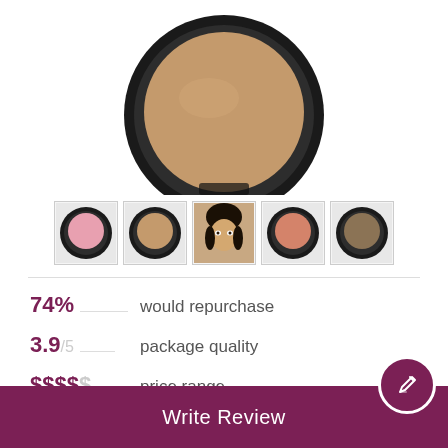[Figure (photo): Main product image: a round compact powder in a black case, showing a warm tan/caramel pressed powder, viewed from above. The compact lid is open revealing the powder.]
[Figure (photo): Row of 5 thumbnail images showing different product variants: pink blush compact, tan powder compact, model face, peachy-orange blush compact, and dark powder compact.]
74%   would repurchase
3.9/5   package quality
$$$$$   price range
Write Review